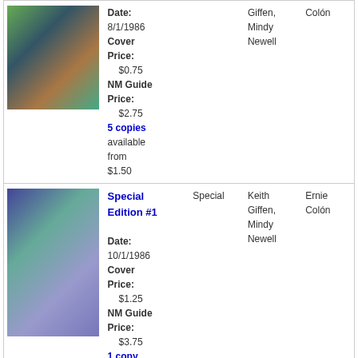[Figure (illustration): Comic book cover image, first entry, colorful fantasy scene]
Date: 8/1/1986 Cover Price: $0.75 NM Guide Price: $2.75
5 copies available from $1.50
Giffen, Mindy Newell
Colón
[Figure (illustration): Comic book cover image, Special Edition #1, purple fantasy scene]
Special Edition #1
Date: 10/1/1986 Cover Price: $1.25 NM Guide Price: $3.75
1 copy available for $3.75
Special
Keith Giffen, Mindy Newell
Ernie Colón